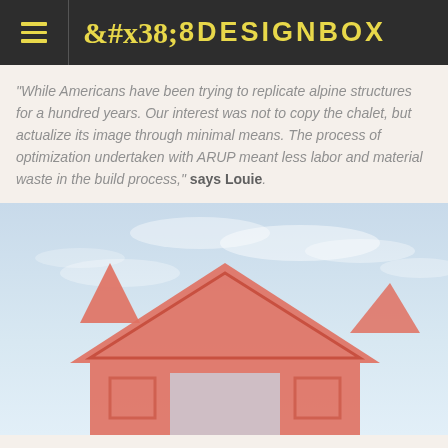8 DESIGNBOX
"While Americans have been trying to replicate alpine structures for a hundred years. Our interest was not to copy the chalet, but actualize its image through minimal means. The process of optimization undertaken with ARUP meant less labor and material waste in the build process," says Louie.
[Figure (photo): A salmon/coral-pink modernist chalet-inspired structure photographed against a light blue cloudy sky. The structure has cutout decorative patterns and angular geometric forms reminiscent of an alpine chalet outline.]